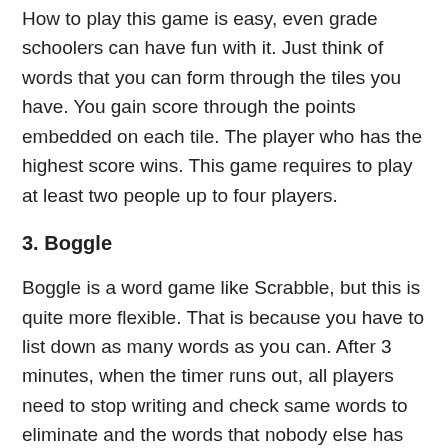How to play this game is easy, even grade schoolers can have fun with it. Just think of words that you can form through the tiles you have. You gain score through the points embedded on each tile. The player who has the highest score wins. This game requires to play at least two people up to four players.
3. Boggle
Boggle is a word game like Scrabble, but this is quite more flexible. That is because you have to list down as many words as you can. After 3 minutes, when the timer runs out, all players need to stop writing and check same words to eliminate and the words that nobody else has written but you gives you a score. There are corresponding scores depending on the number of letters per word. The instructions on how to play this game is detailed in the box.